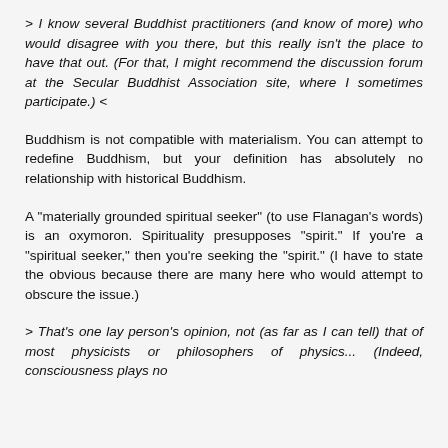> I know several Buddhist practitioners (and know of more) who would disagree with you there, but this really isn't the place to have that out. (For that, I might recommend the discussion forum at the Secular Buddhist Association site, where I sometimes participate.) <
Buddhism is not compatible with materialism. You can attempt to redefine Buddhism, but your definition has absolutely no relationship with historical Buddhism.
A "materially grounded spiritual seeker" (to use Flanagan's words) is an oxymoron. Spirituality presupposes "spirit." If you're a "spiritual seeker," then you're seeking the "spirit." (I have to state the obvious because there are many here who would attempt to obscure the issue.)
> That's one lay person's opinion, not (as far as I can tell) that of most physicists or philosophers of physics... (Indeed, consciousness plays no